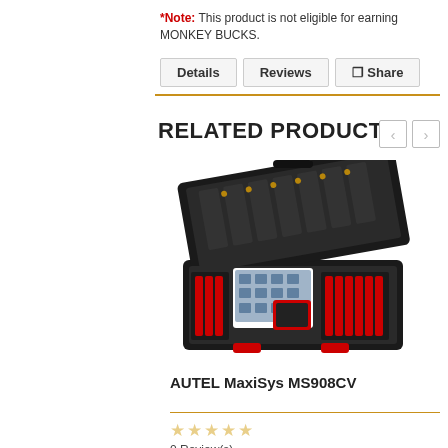*Note: This product is not eligible for earning MONKEY BUCKS.
Details | Reviews | Share
RELATED PRODUCTS
[Figure (photo): AUTEL MaxiSys MS908CV diagnostic tool in open carrying case with tablet and accessories]
AUTEL MaxiSys MS908CV
0 Review(s)